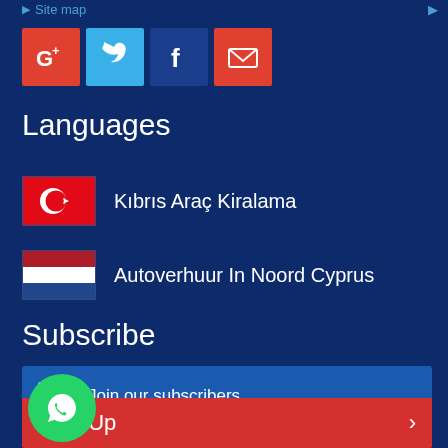Site map
[Figure (other): Social media icons row: Google+, Twitter, Facebook, Email]
Languages
Kıbrıs Araç Kiralama
Autoverhuur In Noord Cyprus
Subscribe
Join our subscribers
est deals delivered to your inbox.
Enter your email address
Sign Up